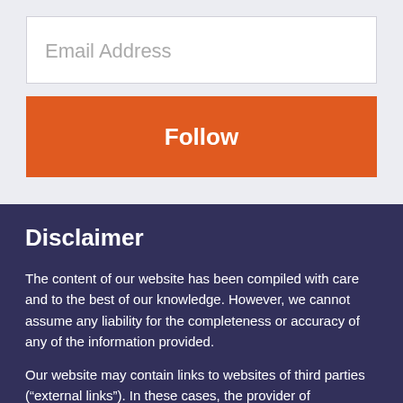Email Address
Follow
Disclaimer
The content of our website has been compiled with care and to the best of our knowledge. However, we cannot assume any liability for the completeness or accuracy of any of the information provided.
Our website may contain links to websites of third parties (“external links”). In these cases, the provider of information of the linked websites is liable for the content, accuracy and lawfulness of the content provided.